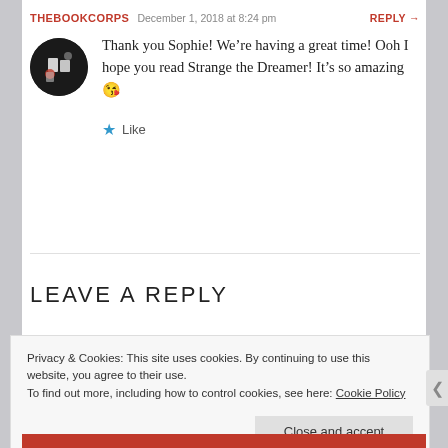THEBOOKCORPS   December 1, 2018 at 8:24 pm   REPLY →
[Figure (photo): Circular avatar photo of a person with books and decorative items on a dark background]
Thank you Sophie! We're having a great time! Ooh I hope you read Strange the Dreamer! It's so amazing 😘
★ Like
LEAVE A REPLY
Privacy & Cookies: This site uses cookies. By continuing to use this website, you agree to their use. To find out more, including how to control cookies, see here: Cookie Policy
Close and accept